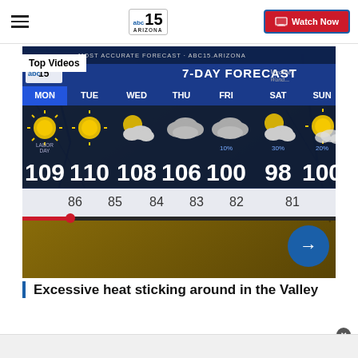ABC15 Arizona — Watch Now
[Figure (screenshot): ABC15 Arizona 7-Day Forecast weather graphic showing MON 109/86, TUE 110/85, WED 108/84, THU 106/83, FRI 100/82 (10%), SAT 98/81 (30%), SUN 100 (20%) with sunny and partly cloudy icons on a dark blue background. A 'Top Videos' label overlays the upper left. A right-arrow navigation button appears at the bottom right.]
Excessive heat sticking around in the Valley